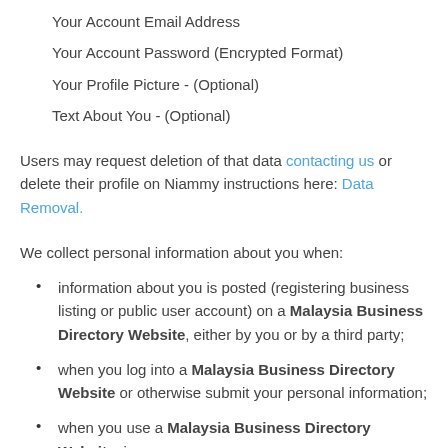Your Account Email Address
Your Account Password (Encrypted Format)
Your Profile Picture - (Optional)
Text About You - (Optional)
Users may request deletion of that data contacting us or delete their profile on Niammy instructions here: Data Removal.
We collect personal information about you when:
information about you is posted (registering business listing or public user account) on a Malaysia Business Directory Website, either by you or by a third party;
when you log into a Malaysia Business Directory Website or otherwise submit your personal information;
when you use a Malaysia Business Directory Website, in